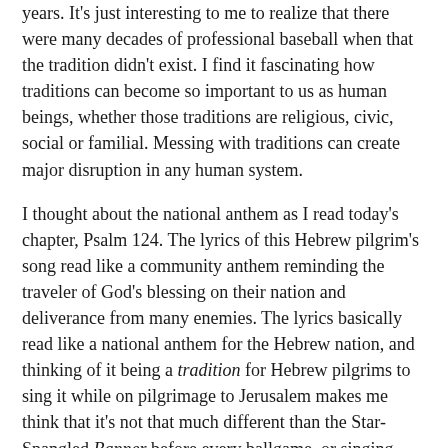years. It's just interesting to me to realize that there were many decades of professional baseball when that the tradition didn't exist. I find it fascinating how traditions can become so important to us as human beings, whether those traditions are religious, civic, social or familial. Messing with traditions can create major disruption in any human system.
I thought about the national anthem as I read today's chapter, Psalm 124. The lyrics of this Hebrew pilgrim's song read like a community anthem reminding the traveler of God's blessing on their nation and deliverance from many enemies. The lyrics basically read like a national anthem for the Hebrew nation, and thinking of it being a tradition for Hebrew pilgrims to sing it while on pilgrimage to Jerusalem makes me think that it's not that much different than the Star-Spangled Banner before every ballgame, or singing God Bless America at the ball game on Sunday.
When the songwriter of Psalm 124 penned "the flood would